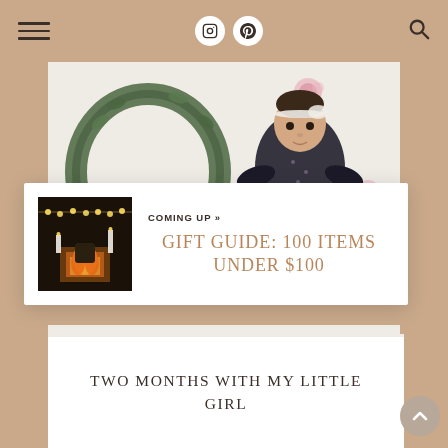Navigation bar with hamburger menu, Instagram and Pinterest icons, and search icon
[Figure (photo): Baby lying on white fluffy blanket with pink roses and a green wreath, wearing a dark floral outfit with a white headband bow]
[Figure (photo): Person sitting in front of a fireplace with string lights and candles, Christmas decor scene]
COMING UP »
GIFT GUIDE: 100 ITEMS UNDER $100
[Figure (photo): Bottom portion of the baby photo showing white textured blanket]
TWO MONTHS WITH MY LITTLE GIRL